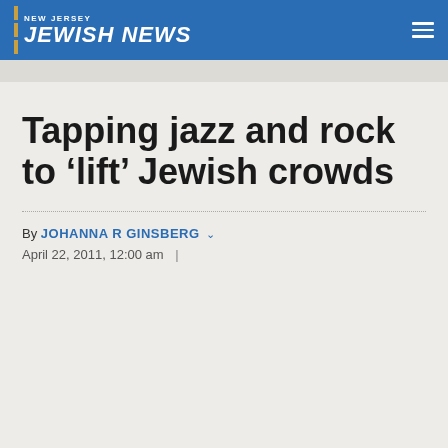NEW JERSEY JEWISH NEWS
Tapping jazz and rock to ‘lift’ Jewish crowds
By JOHANNA R GINSBERG
April 22, 2011, 12:00 am  |